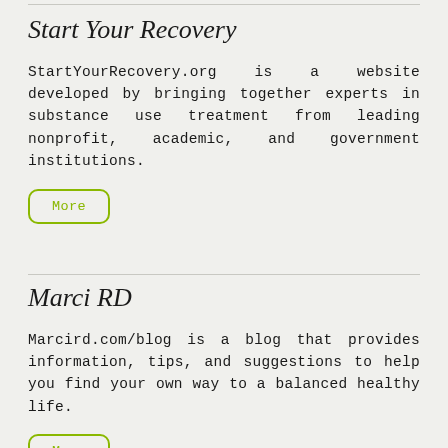Start Your Recovery
StartYourRecovery.org is a website developed by bringing together experts in substance use treatment from leading nonprofit, academic, and government institutions.
More
Marci RD
Marcird.com/blog is a blog that provides information, tips, and suggestions to help you find your own way to a balanced healthy life.
More